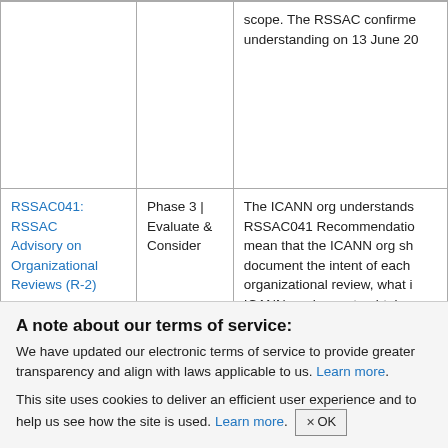|  |  |  |
| --- | --- | --- |
|  |  | scope. The RSSAC confirme… understanding on 13 June 20… |
| RSSAC041: RSSAC Advisory on Organizational Reviews (R-2) | Phase 3 | Evaluate & Consider | The ICANN org understands RSSAC041 Recommendation… mean that the ICANN org sho… document the intent of each organizational review, what i… ICANN org hopes to obtain, a… the information from the revi… |
| (EO-t2019) |  |  |
A note about our terms of service:
We have updated our electronic terms of service to provide greater transparency and align with laws applicable to us. Learn more.
This site uses cookies to deliver an efficient user experience and to help us see how the site is used. Learn more. OK